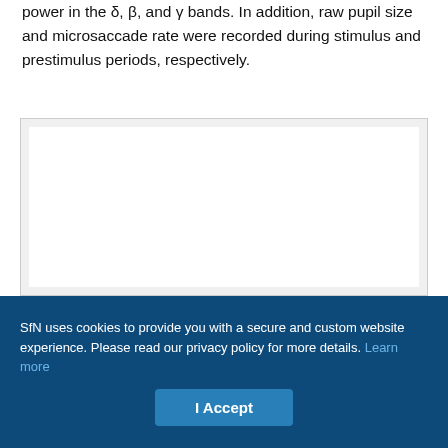power in the δ, β, and γ bands. In addition, raw pupil size and microsaccade rate were recorded during stimulus and prestimulus periods, respectively.
[Figure (other): Blank white figure area inside a light gray bordered container, content not visible in this crop.]
SfN uses cookies to provide you with a secure and custom website experience. Please read our privacy policy for more details. Learn more